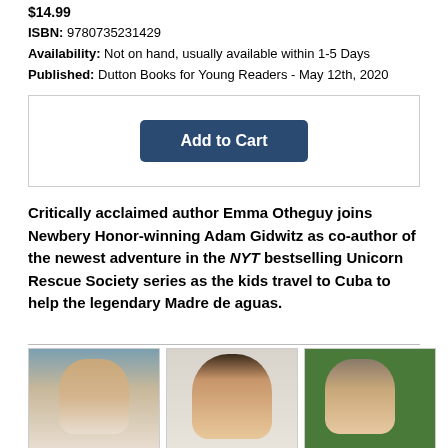$14.99
ISBN: 9780735231429
Availability: Not on hand, usually available within 1-5 Days
Published: Dutton Books for Young Readers - May 12th, 2020
[Figure (other): Add to Cart button inside a bordered box]
Critically acclaimed author Emma Otheguy joins Newbery Honor-winning Adam Gidwitz as co-author of the newest adventure in the NYT bestselling Unicorn Rescue Society series as the kids travel to Cuba to help the legendary Madre de aguas.
[Figure (photo): Three author headshot photos side by side: a man with brown hair outdoors, a woman with dark hair smiling, and a man with glasses against a green background]